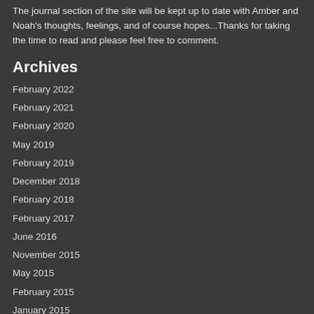The journal section of the site will be kept up to date with Amber and Noah's thoughts, feelings, and of course hopes...Thanks for taking the time to read and please feel free to comment.
Archives
February 2022
February 2021
February 2020
May 2019
February 2019
December 2018
February 2018
February 2017
June 2016
November 2015
May 2015
February 2015
January 2015
November 2014
July 2014
June 2014